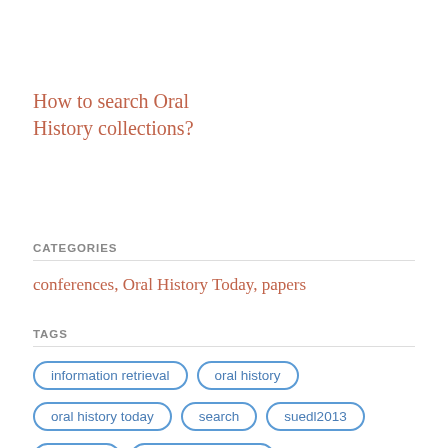How to search Oral History collections?
CATEGORIES
conferences, Oral History Today, papers
TAGS
information retrieval
oral history
oral history today
search
suedl2013
tpdl2013
user requirements